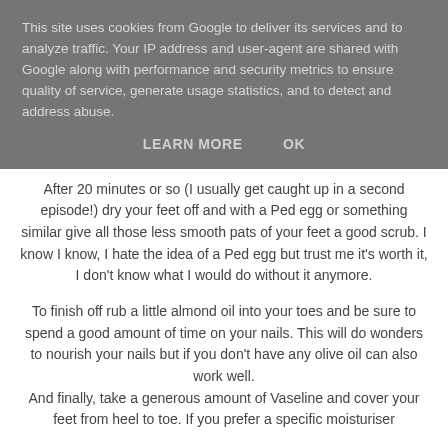This site uses cookies from Google to deliver its services and to analyze traffic. Your IP address and user-agent are shared with Google along with performance and security metrics to ensure quality of service, generate usage statistics, and to detect and address abuse.
LEARN MORE   OK
After 20 minutes or so (I usually get caught up in a second episode!) dry your feet off and with a Ped egg or something similar give all those less smooth pats of your feet a good scrub. I know I know, I hate the idea of a Ped egg but trust me it's worth it, I don't know what I would do without it anymore.
To finish off rub a little almond oil into your toes and be sure to spend a good amount of time on your nails. This will do wonders to nourish your nails but if you don't have any olive oil can also work well. And finally, take a generous amount of Vaseline and cover your feet from heel to toe. If you prefer a specific moisturiser